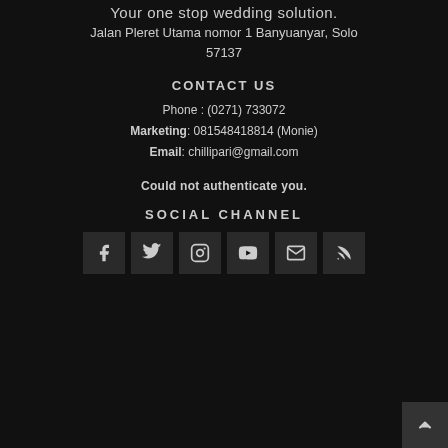Your one stop wedding solution.
Jalan Pleret Utama nomor 1 Banyuanyar, Solo 57137
CONTACT US
Phone : (0271) 733072
Marketing: 081548418814 (Monie)
Email: chillipari@gmail.com
Could not authenticate you.
SOCIAL CHANNEL
[Figure (infographic): Row of 6 social media icon boxes: Facebook, Twitter, Instagram, YouTube, Email, RSS feed. Dark gray square backgrounds with white icons.]
[Figure (infographic): Back-to-top button, dark gray, bottom right corner, with upward chevron arrow icon.]